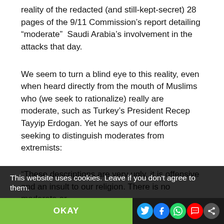reality of the redacted (and still-kept-secret) 28 pages of the 9/11 Commission’s report detailing “moderate”  Saudi Arabia’s involvement in the attacks that day.
We seem to turn a blind eye to this reality, even when heard directly from the mouth of Muslims who (we seek to rationalize) really are moderate, such as Turkey’s President Recep Tayyip Erdogan. Yet he says of our efforts seeking to distinguish moderates from extremists:
“These descriptions are very ugly, it is offensive and an insult to our religion. There is no moderate or
This website uses cookies. Leave if you don't agree to them.
OKAY